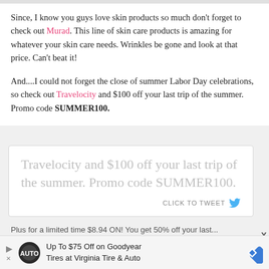Since, I know you guys love skin products so much don't forget to check out Murad. This line of skin care products is amazing for whatever your skin care needs. Wrinkles be gone and look at that price. Can't beat it!
And....I could not forget the close of summer Labor Day celebrations, so check out Travelocity and $100 off your last trip of the summer. Promo code SUMMER100.
[Figure (other): Tweet quote box with text: 'Travelocity and $100 off your last trip of the summer. Promo code SUMMER100.' and a 'CLICK TO TWEET' button with bird icon]
X
Plus for a limited time $8.94 ON! You get 50% off your last...
[Figure (other): Advertisement banner: Up To $75 Off on Goodyear Tires at Virginia Tire & Auto, with auto service logo and blue diamond navigation icon]